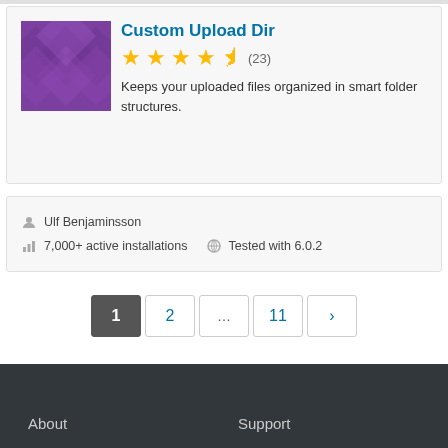Custom Upload Dir
★★★★½ (23)
Keeps your uploaded files organized in smart folder structures.
Ulf Benjaminsson
7,000+ active installations   Tested with 6.0.2
1
2
...
11
›
About    Support